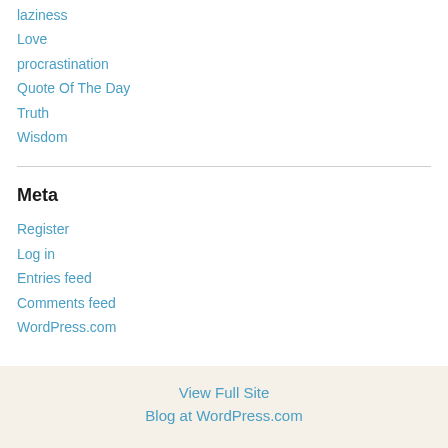laziness
Love
procrastination
Quote Of The Day
Truth
Wisdom
Meta
Register
Log in
Entries feed
Comments feed
WordPress.com
View Full Site
Blog at WordPress.com